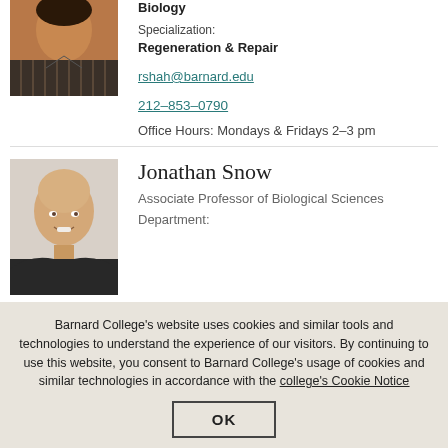[Figure (photo): Partial photo of a faculty member (woman) in striped shirt, cropped at top]
Biology
Specialization:
Regeneration & Repair
rshah@barnard.edu
212-853-0790
Office Hours: Mondays & Fridays 2–3 pm
[Figure (photo): Photo of Jonathan Snow, a bald man smiling, wearing a dark shirt]
Jonathan Snow
Associate Professor of Biological Sciences
Department:
Barnard College's website uses cookies and similar tools and technologies to understand the experience of our visitors. By continuing to use this website, you consent to Barnard College's usage of cookies and similar technologies in accordance with the college's Cookie Notice
OK